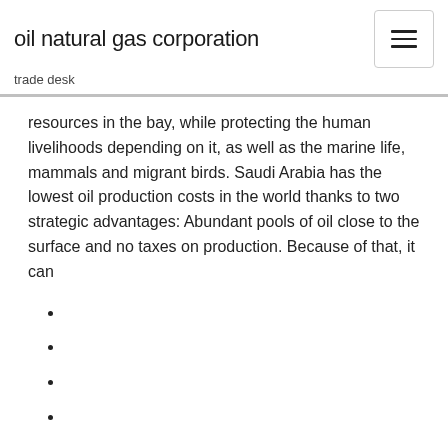oil natural gas corporation
trade desk
resources in the bay, while protecting the human livelihoods depending on it, as well as the marine life, mammals and migrant birds. Saudi Arabia has the lowest oil production costs in the world thanks to two strategic advantages: Abundant pools of oil close to the surface and no taxes on production. Because of that, it can